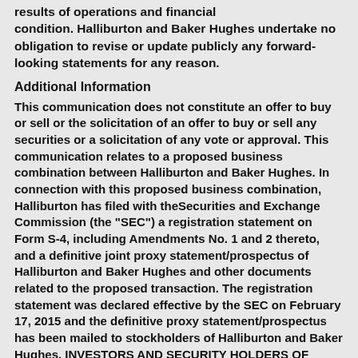results of operations and financial condition. Halliburton and Baker Hughes undertake no obligation to revise or update publicly any forward-looking statements for any reason.
Additional Information
This communication does not constitute an offer to buy or sell or the solicitation of an offer to buy or sell any securities or a solicitation of any vote or approval. This communication relates to a proposed business combination between Halliburton and Baker Hughes. In connection with this proposed business combination, Halliburton has filed with theSecurities and Exchange Commission (the "SEC") a registration statement on Form S-4, including Amendments No. 1 and 2 thereto, and a definitive joint proxy statement/prospectus of Halliburton and Baker Hughes and other documents related to the proposed transaction. The registration statement was declared effective by the SEC on February 17, 2015 and the definitive proxy statement/prospectus has been mailed to stockholders of Halliburton and Baker Hughes. INVESTORS AND SECURITY HOLDERS OF HALLIBURTON AND BAKER